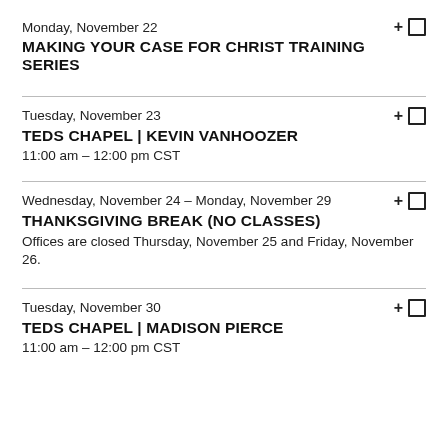Monday, November 22
MAKING YOUR CASE FOR CHRIST TRAINING SERIES
Tuesday, November 23
TEDS CHAPEL | KEVIN VANHOOZER
11:00 am – 12:00 pm CST
Wednesday, November 24 – Monday, November 29
THANKSGIVING BREAK (NO CLASSES)
Offices are closed Thursday, November 25 and Friday, November 26.
Tuesday, November 30
TEDS CHAPEL | MADISON PIERCE
11:00 am – 12:00 pm CST